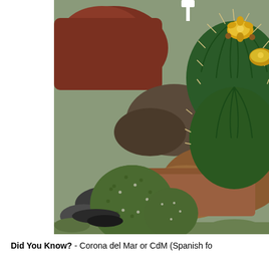[Figure (photo): A close-up photograph of a cactus garden featuring round green cacti with yellow flowers blooming on top, surrounded by rocks and stones. The larger cactus on the right has bright yellow flowers, while smaller rounded cacti are on the left. A white plant label stake is visible at the top.]
Did You Know? - Corona del Mar or CdM (Spanish fo